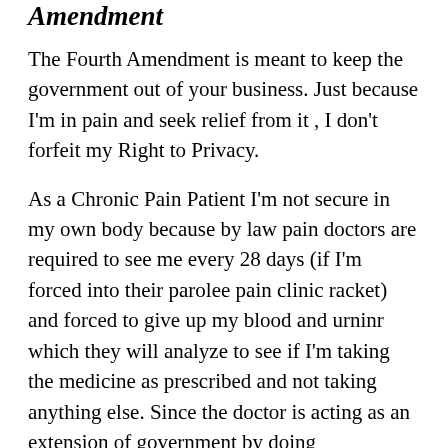persons & things is a citizen. Fourth Amendment
The Fourth Amendment is meant to keep the government out of your business. Just because I'm in pain and seek relief from it , I don't forfeit my Right to Privacy.
As a Chronic Pain Patient I'm not secure in my own body because by law pain doctors are required to see me every 28 days (if I'm forced into their parolee pain clinic racket) and forced to give up my blood and urninr which they will analyze to see if I'm taking the medicine as prescribed and not taking anything else. Since the doctor is acting as an extension of government by doing